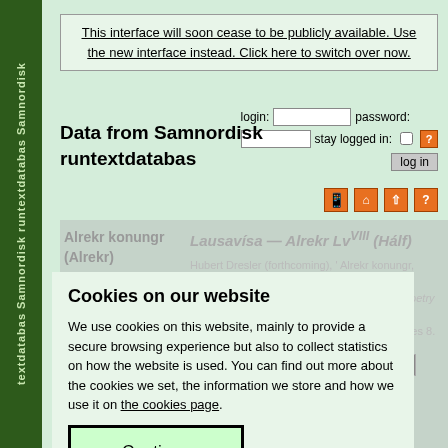Data from Samnordisk runtextdatabas — textdatabas Samnordisk (sidebar)
This interface will soon cease to be publicly available. Use the new interface instead. Click here to switch over now.
Data from Samnordisk runtextdatabas
Alrekr konungr (Alrekr)
Lausavísa — Alrekr LvVIII (Hálf)
Cookies on our website
We use cookies on this website, mainly to provide a secure browsing experience but also to collect statistics on how the website is used. You can find out more about the cookies we set, the information we store and how we use it on the cookies page.
Continue
SkP info: VIII, 305
old edition  introduction  edition  manuscripts  transcriptions  concordance  search  files